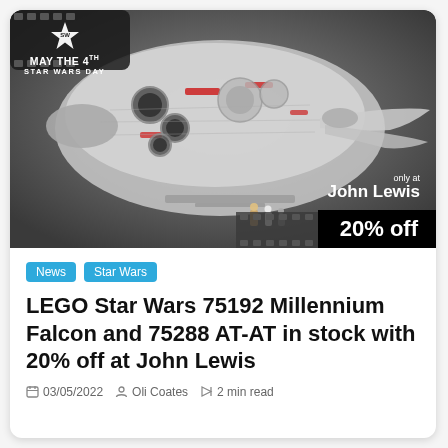[Figure (photo): LEGO Star Wars Millennium Falcon model with 'May the 4th Star Wars Day' badge in top-left, 'only at John Lewis' text and '20% off' black banner in bottom-right, against a dark grey background with film strip decorations.]
News
Star Wars
LEGO Star Wars 75192 Millennium Falcon and 75288 AT-AT in stock with 20% off at John Lewis
03/05/2022  Oli Coates  2 min read